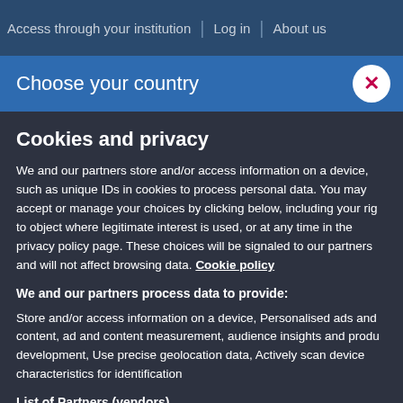Access through your institution | Log in | About us
Choose your country
Cookies and privacy
We and our partners store and/or access information on a device, such as unique IDs in cookies to process personal data. You may accept or manage your choices by clicking below, including your rig to object where legitimate interest is used, or at any time in the privacy policy page. These choices will be signaled to our partners and will not affect browsing data. Cookie policy
We and our partners process data to provide:
Store and/or access information on a device, Personalised ads and content, ad and content measurement, audience insights and produ development, Use precise geolocation data, Actively scan device characteristics for identification
List of Partners (vendors)